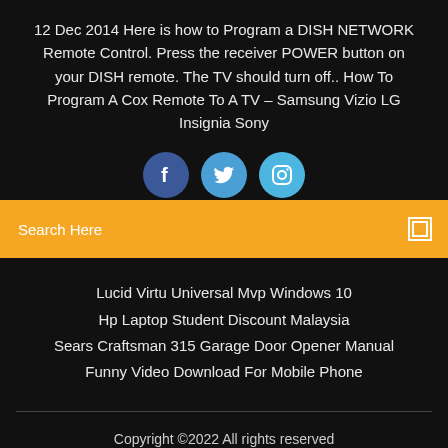12 Dec 2014 Here is how to Program a DISH NETWORK Remote Control. Press the receiver POWER button on your DISH remote. The TV should turn off.. How To Program A Cox Remote To A TV – Samsung Vizio LG Insignia Sony
[Figure (infographic): Three social media icons: Facebook (dark blue circle with 'f'), Twitter (medium blue circle with bird icon), Instagram (light blue circle with camera icon)]
Search Here
Lucid Virtu Universal Mvp Windows 10
Hp Laptop Student Discount Malaysia
Sears Craftsman 315 Garage Door Opener Manual
Funny Video Download For Mobile Phone
Copyright ©2022 All rights reserved